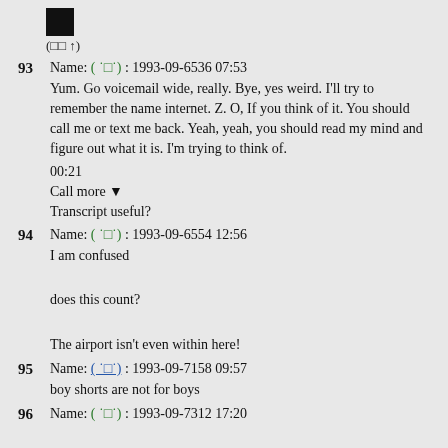[Figure (other): Black square icon with text '(□□ ↑)' below it]
93  Name: ( ˙□˙) : 1993-09-6536 07:53
Yum. Go voicemail wide, really. Bye, yes weird. I'll try to remember the name internet. Z. O, If you think of it. You should call me or text me back. Yeah, yeah, you should read my mind and figure out what it is. I'm trying to think of.
00:21
Call more ▼
Transcript useful?
94  Name: ( ˙□˙) : 1993-09-6554 12:56
I am confused

does this count?

The airport isn't even within here!
95  Name: ( ˙□˙) : 1993-09-7158 09:57
boy shorts are not for boys
96  Name: ( ˙□˙) : 1993-09-7312 17:20